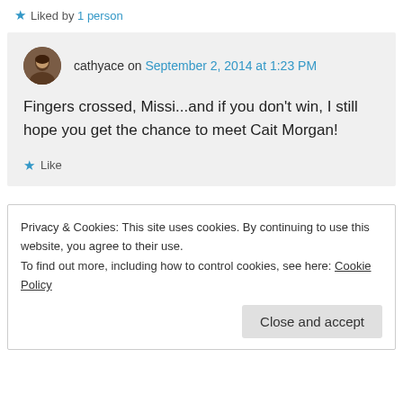★ Liked by 1 person
cathyace on September 2, 2014 at 1:23 PM

Fingers crossed, Missi...and if you don't win, I still hope you get the chance to meet Cait Morgan!

★ Like
Privacy & Cookies: This site uses cookies. By continuing to use this website, you agree to their use.
To find out more, including how to control cookies, see here: Cookie Policy

Close and accept